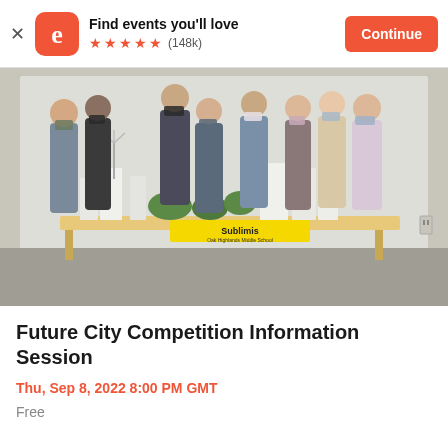Find events you'll love ★★★★★ (148k) Continue
[Figure (photo): Group photo of approximately 8 middle school students wearing face masks, standing behind a table displaying a model city labeled 'Sublimis' from Oak Highlands Middle School, in a classroom setting with a whiteboard in the background.]
Future City Competition Information Session
Thu, Sep 8, 2022 8:00 PM GMT
Free